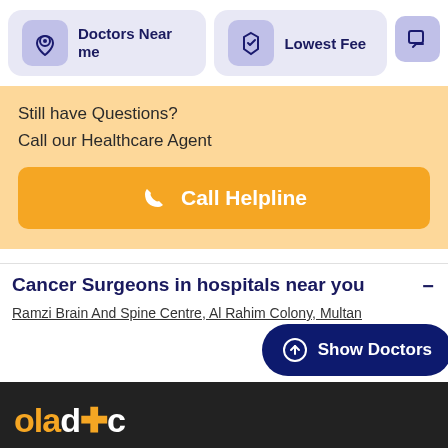[Figure (screenshot): Doctors Near me filter card with location pin icon on lavender background]
Doctors Near me
[Figure (screenshot): Lowest Fee filter card with shield icon on lavender background]
Lowest Fee
Still have Questions?
Call our Healthcare Agent
Call Helpline
Cancer Surgeons in hospitals near you
Ramzi Brain And Spine Centre, Al Rahim Colony, Multan
Show Doctors
[Figure (logo): oladoc logo in orange and white on dark background]